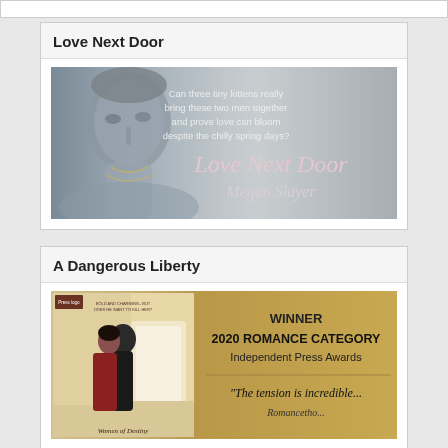Love Next Door
[Figure (illustration): Book cover banner for 'Love Next Door' by Megan Slayer. Shows a man's face on the left with text 'Can three tiny kittens really bring these two men together and prove love can bloom despite the chilly spring days?' and large title text 'Love Next Door' and author name 'Megan Slayer' on a silver/gray background.]
A Dangerous Liberty
[Figure (illustration): Book cover banner for 'A Dangerous Liberty'. Left side shows a couple about to kiss in formal attire with text 'Women of Destiny'. Right gold/tan side reads 'WINNER 2020 ROMANCE CATEGORY Independent Press Awards' and '"The tension is incredible...' on a gold/tan background.]